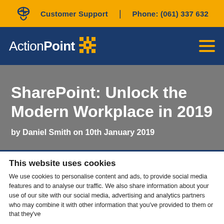Customer Support  |  Phone: (061) 337 632
[Figure (logo): ActionPoint logo with yellow star/cross symbol on navy background]
SharePoint: Unlock the Modern Workplace in 2019
by Daniel Smith on 10th January 2019
This website uses cookies
We use cookies to personalise content and ads, to provide social media features and to analyse our traffic. We also share information about your use of our site with our social media, advertising and analytics partners who may combine it with other information that you've provided to them or that they've